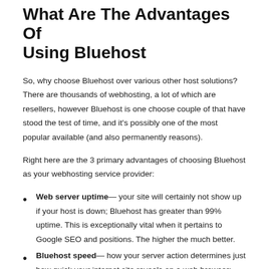What Are The Advantages Of Using Bluehost
So, why choose Bluehost over various other host solutions? There are thousands of webhosting, a lot of which are resellers, however Bluehost is one choose couple of that have stood the test of time, and it's possibly one of the most popular available (and also permanently reasons).
Right here are the 3 primary advantages of choosing Bluehost as your webhosting service provider:
Web server uptime— your site will certainly not show up if your host is down; Bluehost has greater than 99% uptime. This is exceptionally vital when it pertains to Google SEO and positions. The higher the much better.
Bluehost speed— how your server action determines just how quick your internet site reveals on a web browser;